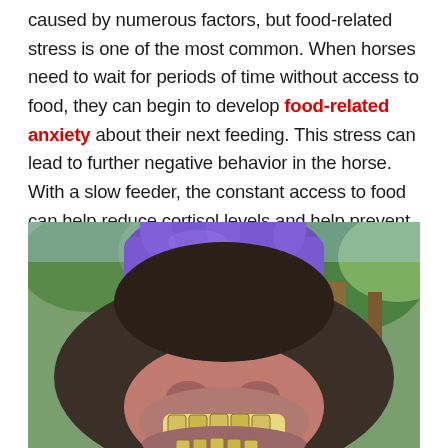caused by numerous factors, but food-related stress is one of the most common. When horses need to wait for periods of time without access to food, they can begin to develop food-related anxiety about their next feeding. This stress can lead to further negative behavior in the horse. With a slow feeder, the constant access to food can help reduce cortisol levels and help prevent poor behavior.
[Figure (photo): Close-up photo of a horse's mouth being held open by a person wearing purple gloves, showing the horse's teeth from below against a background of trees.]